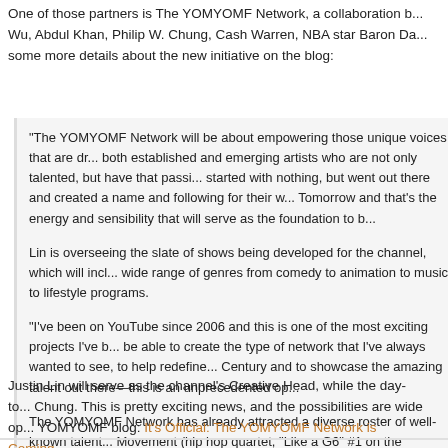One of those partners is The YOMYOMF Network, a collaboration b... Wu, Abdul Khan, Philip W. Chung, Cash Warren, NBA star Baron Da... some more details about the new initiative on the blog:
"The YOMYOMF Network will be about empowering those unique voices that are dr... both established and emerging artists who are not only talented, but have that passi... started with nothing, but went out there and created a name and following for their w... Tomorrow and that’s the energy and sensibility that will serve as the foundation to b...
Lin is overseeing the slate of shows being developed for the channel, which will incl... wide range of genres from comedy to animation to music to lifestyle programs.
"I've been on YouTube since 2006 and this is one of the most exciting projects I've b... be able to create the type of network that I've always wanted to see, to help redefine... Century and to showcase the amazing talent out there—this is an unprecedented op...
The YOMYOMF Network has already attracted a diverse roster of well-known talent... Movement (hip hop quartet, "Like a G6" #1 on the Billboard charts), David Henry Hw... Kang (Fast Five), Danny Pudi (Community), Joe & Anthony Russo (Emmy Award-wi... Jr. (Glee) and Iris Yamashita (Academy Award-nominated writer, Letters from Iwo Ji...
Justin Lin will serve as the channel's Creative Head, while the day-to... Chung. This is pretty exciting news, and the possibilities are wide op... YOMYOMF blog: It's Official: The YOMYOMF Network is Coming...